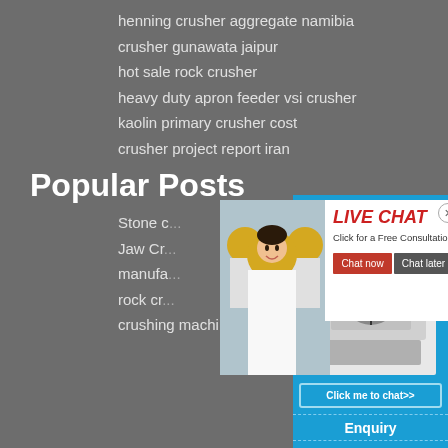henning crusher aggregate namibia
crusher gunawata jaipur
hot sale rock crusher
heavy duty apron feeder vsi crusher
kaolin primary crusher cost
crusher project report iran
Popular Posts
Stone c...
Jaw Cr...
manufa...
rock cr...
crushing machine drawing
[Figure (screenshot): Live chat popup overlay with photo of woman in white shirt with hard hat workers behind, LIVE CHAT heading in red italic, 'Click for a Free Consultation' text, red 'Chat now' button and grey 'Chat later' button, close X button]
[Figure (screenshot): Right sidebar with blue background, 'hour online' text, image of industrial crusher machine, 'Click me to chat>>' button, 'Enquiry' section, 'limingjlmofen' text at bottom]